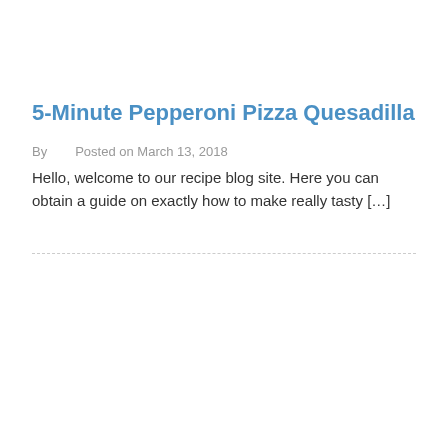5-Minute Pepperoni Pizza Quesadilla
By    Posted on March 13, 2018
Hello, welcome to our recipe blog site. Here you can obtain a guide on exactly how to make really tasty […]